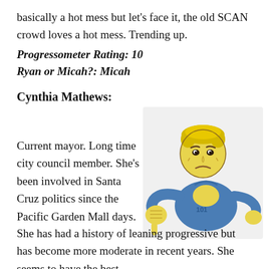basically a hot mess but let’s face it, the old SCAN crowd loves a hot mess. Trending up.
Progressometer Rating: 10
Ryan or Micah?: Micah
Cynthia Mathews:
Current mayor. Long time city council member. She’s been involved in Santa Cruz politics since the Pacific Garden Mall days. She has had a history of leaning progressive but has become more moderate in recent years. She seems to have the best
[Figure (illustration): Vault Boy character from Fallout giving a thumbs down, cartoon style, yellow skin, blue vault suit, blonde hair, frowning expression]